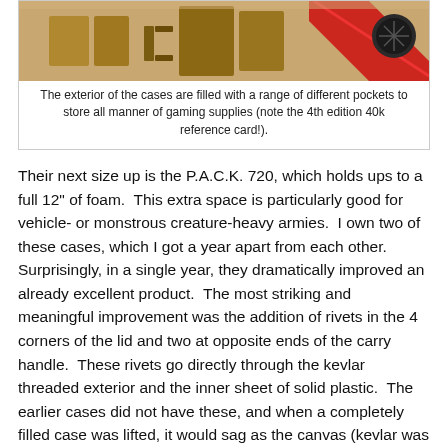[Figure (photo): Exterior of a gaming case (P.A.C.K.) showing tan/khaki exterior with pockets, a red diagonal strap or card visible, and a dark circular logo. Partially cropped at the top.]
The exterior of the cases are filled with a range of different pockets to store all manner of gaming supplies (note the 4th edition 40k reference card!).
Their next size up is the P.A.C.K. 720, which holds ups to a full 12" of foam.  This extra space is particularly good for vehicle- or monstrous creature-heavy armies.  I own two of these cases, which I got a year apart from each other.  Surprisingly, in a single year, they dramatically improved an already excellent product.  The most striking and meaningful improvement was the addition of rivets in the 4 corners of the lid and two at opposite ends of the carry handle.  These rivets go directly through the kevlar threaded exterior and the inner sheet of solid plastic.  The earlier cases did not have these, and when a completely filled case was lifted, it would sag as the canvas (kevlar was added later and is used in all current cases) exterior would slightly detach from the reinforced plastic.  The new design, which they have applied to all of their P.A.C.K. cases, makes them substantially more